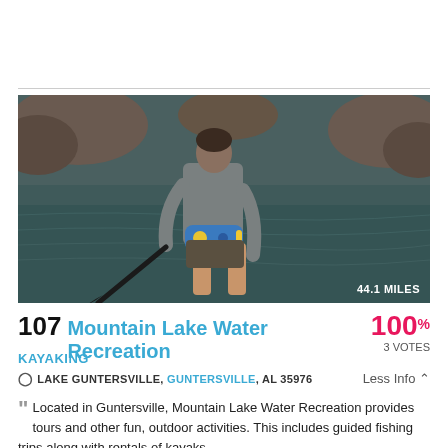[Figure (photo): Person standing on water with a kayak paddle, viewed from behind, wearing gray long-sleeve shirt, khaki shorts, and a blue fanny pack/PFD. Rocky shoreline in background. Badge reads '44.1 MILES'.]
107 Mountain Lake Water Recreation 100% 3 VOTES
KAYAKING
LAKE GUNTERSVILLE, GUNTERSVILLE, AL 35976   Less Info
Located in Guntersville, Mountain Lake Water Recreation provides tours and other fun, outdoor activities. This includes guided fishing trips along with rentals of kayaks.